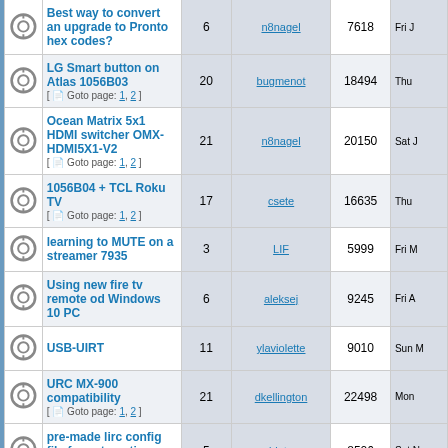|  | Topic | Replies | Last Post Author | Views | Date |
| --- | --- | --- | --- | --- | --- |
|  | Best way to convert an upgrade to Pronto hex codes? | 6 | n8nagel | 7618 | Fri J |
|  | LG Smart button on Atlas 1056B03 [ Goto page: 1, 2 ] | 20 | bugmenot | 18494 | Thu |
|  | Ocean Matrix 5x1 HDMI switcher OMX-HDMI5X1-V2 [ Goto page: 1, 2 ] | 21 | n8nagel | 20150 | Sat J |
|  | 1056B04 + TCL Roku TV [ Goto page: 1, 2 ] | 17 | csete | 16635 | Thu |
|  | learning to MUTE on a streamer 7935 | 3 | LIF | 5999 | Fri M |
|  | Using new fire tv remote od Windows 10 PC | 6 | aleksej | 9245 | Fri A |
|  | USB-UIRT | 11 | ylaviolette | 9010 | Sun M |
|  | URC MX-900 compatibility [ Goto page: 1, 2 ] | 21 | dkellington | 22498 | Mon |
|  | pre-made lirc config file for automation controller | 5 | bluto | 8506 | Sat N |
|  | Request for help from Tommy Tyler | 1 | Tommy Tyler | 5270 | Wed |
|  | Multichoice A3 remote as universal remote | 5 | leonm | 7765 | Wed N |
|  | TacT amplifier - Help converting pronto codes | 19 | daws0n | 20676 | Sun |